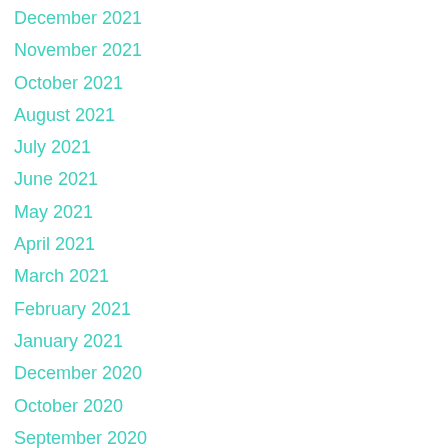December 2021
November 2021
October 2021
August 2021
July 2021
June 2021
May 2021
April 2021
March 2021
February 2021
January 2021
December 2020
October 2020
September 2020
August 2020
June 2020
April 2020
March 2020